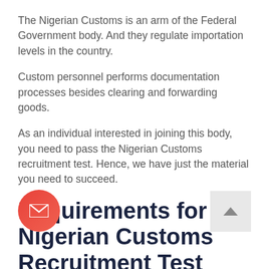The Nigerian Customs is an arm of the Federal Government body. And they regulate importation levels in the country.
Custom personnel performs documentation processes besides clearing and forwarding goods.
As an individual interested in joining this body, you need to pass the Nigerian Customs recruitment test. Hence, we have just the material you need to succeed.
Requirements for the Nigerian Customs Recruitment Test
As expected, you're required to fulfill the